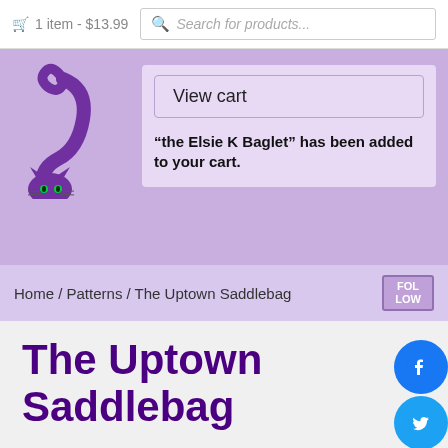1 item - $13.99   Search for products...
[Figure (logo): Purple cat logo for a craft/sewing shop]
View cart
“the Elsie K Baglet” has been added to your cart.
Home / Patterns / The Uptown Saddlebag
The Uptown Saddlebag
$13.99
Hand-stitched bag...